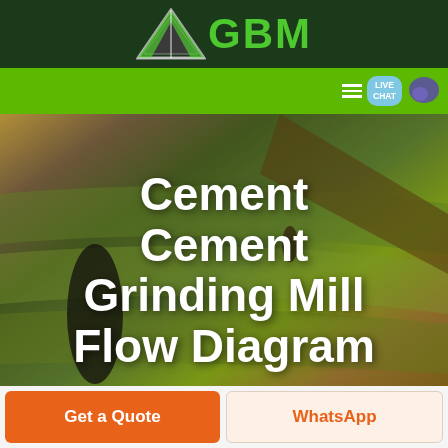GBM
[Figure (screenshot): GBM website header with dark green background, logo with arrow/triangle graphic in silver and green, large green GBM text, green navigation bar with hamburger menu and Live Chat button, aerial photograph of green fields with dark tree/shadow in foreground, and large white bold title text 'Cement Cement Grinding Mill Flow Diagram']
Cement Cement Grinding Mill Flow Diagram
Get a Quote
WhatsApp